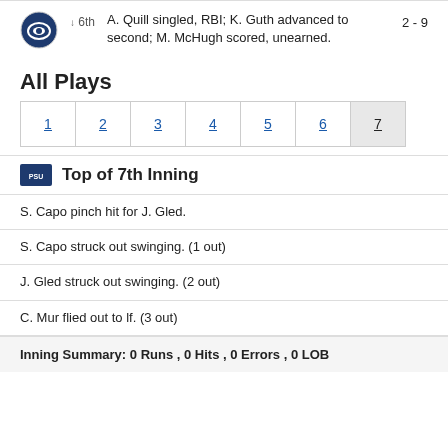A. Quill singled, RBI; K. Guth advanced to second; M. McHugh scored, unearned. 2 - 9
All Plays
Top of 7th Inning
S. Capo pinch hit for J. Gled.
S. Capo struck out swinging. (1 out)
J. Gled struck out swinging. (2 out)
C. Mur flied out to lf. (3 out)
Inning Summary: 0 Runs , 0 Hits , 0 Errors , 0 LOB